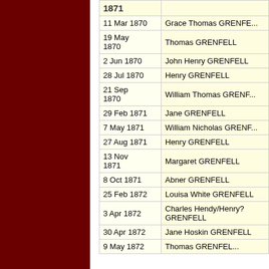| Date | Name |
| --- | --- |
|  |  |
| 11 Mar 1870 | Grace Thomas GRENFE... |
| 19 May 1870 | Thomas GRENFELL |
| 2 Jun 1870 | John Henry GRENFELL |
| 28 Jul 1870 | Henry GRENFELL |
| 21 Sep 1870 | William Thomas GRENF... |
| 29 Feb 1871 | Jane GRENFELL |
| 7 May 1871 | William Nicholas GRENF... |
| 27 Aug 1871 | Henry GRENFELL |
| 13 Nov 1871 | Margaret GRENFELL |
| 8 Oct 1871 | Abner GRENFELL |
| 25 Feb 1872 | Louisa White GRENFELL |
| 3 Apr 1872 | Charles Hendy/Henry? GRENFELL |
| 30 Apr 1872 | Jane Hoskin GRENFELL |
| 9 May 1872 | Thomas GRENFEL... |